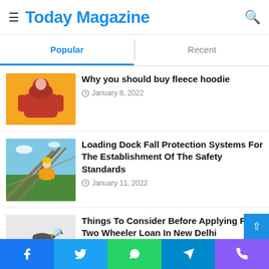Today Magazine
Popular | Recent
[Figure (photo): Person wearing a red hoodie against an orange/yellow background]
Why you should buy fleece hoodie
January 8, 2022
[Figure (photo): Construction worker in yellow hard hat and safety vest on a steel structure]
Loading Dock Fall Protection Systems For The Establishment Of The Safety Standards
January 11, 2022
[Figure (photo): Adventure motorcycle (dual-sport) parked on a white background]
Things To Consider Before Applying For A Two Wheeler Loan In New Delhi
December 15, 2021